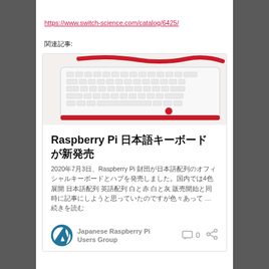https://www.switch-science.com/catalog/6425/
関連記事:
[Figure (photo): Photo of a white Raspberry Pi keyboard with red accent, viewed from above at an angle.]
Raspberry Pi 日本語キーボードが新発売
2020年7月3日、Raspberry Pi 財団が日本語配列のオフィシャルキーボードとハブを発売しました。国内では4色展開 日本語配列 英語配列 白と赤 白と灰 販売開始と同時に記事にしようと思っていたのですが色々あって …  続きを読む
Japanese Raspberry Pi Users Group
0